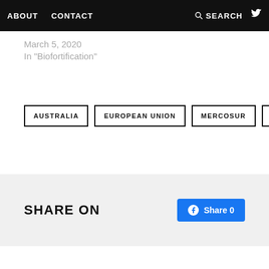ABOUT   CONTACT   SEARCH   Twitter
March 5, 2020
In "Biofortification"
AUSTRALIA
EUROPEAN UNION
MERCOSUR
NATION...
SHARE ON
Share 0